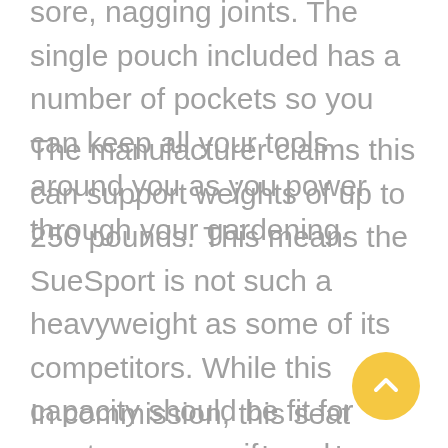sore, nagging joints. The single pouch included has a number of pockets so you can keep all your tools around you as you power through your gardening.
The manufacturer claims this can support weights of up to 250 pounds. This means the SueSport is not such a heavyweight as some of its competitors. While this capacity should be fit for most purposes, if you have more demanding weights in mind you should look at one of the other kneelers we review instead.
In commission, this seat measures approximately 23 " x 10" x 19" and when folded